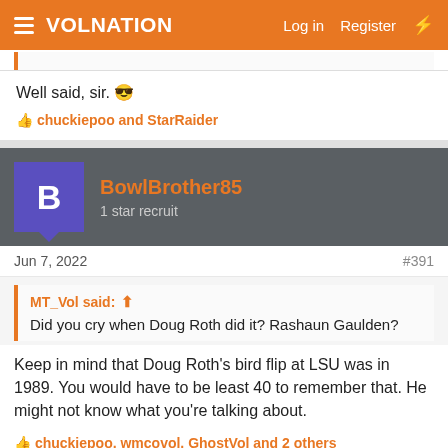VolNation — Log in  Register
Well said, sir. 😎
👍 chuckiepoo and StarRaider
BowlBrother85 — 1 star recruit
Jun 7, 2022  #391
MT_Vol said: ➤ Did you cry when Doug Roth did it? Rashaun Gaulden?
Keep in mind that Doug Roth's bird flip at LSU was in 1989. You would have to be least 40 to remember that. He might not know what you're talking about.
👍 chuckiepoo, wmcovol, GhostVol and 2 others